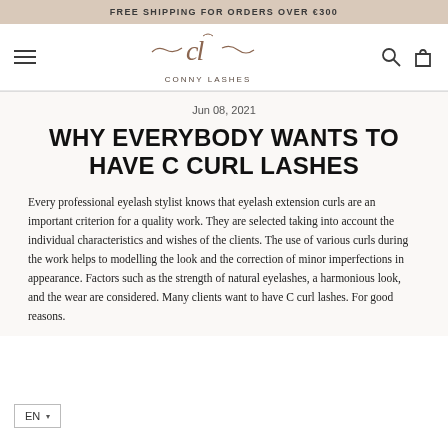FREE SHIPPING FOR ORDERS OVER €300
[Figure (logo): Conny Lashes logo with stylized CL script and text CONNY LASHES below]
Jun 08, 2021
WHY EVERYBODY WANTS TO HAVE C CURL LASHES
Every professional eyelash stylist knows that eyelash extension curls are an important criterion for a quality work. They are selected taking into account the individual characteristics and wishes of the clients. The use of various curls during the work helps to modelling the look and the correction of minor imperfections in appearance. Factors such as the strength of natural eyelashes, a harmonious look, and the wear are considered. Many clients want to have C curl lashes. For good reasons.